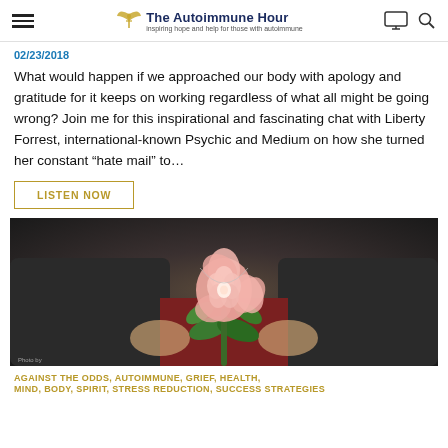The Autoimmune Hour — inspiring hope and help for those with autoimmune
02/23/2018
What would happen if we approached our body with apology and gratitude for it keeps on working regardless of what all might be going wrong? Join me for this inspirational and fascinating chat with Liberty Forrest, international-known Psychic and Medium on how she turned her constant “hate mail” to…
LISTEN NOW
[Figure (photo): Person holding a pink rose/camellia flower with green leaves, wearing a dark jacket and red shirt, with a silver necklace.]
AGAINST THE ODDS, AUTOIMMUNE, GRIEF, HEALTH, MIND, BODY, SPIRIT, STRESS REDUCTION, SUCCESS STRATEGIES